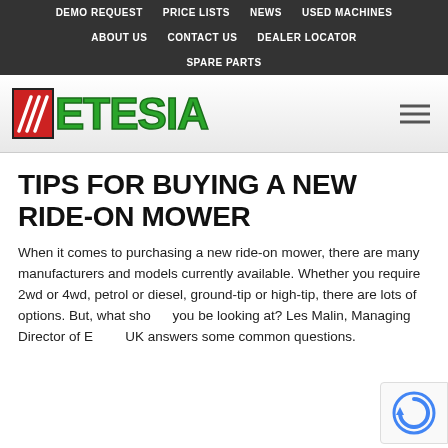DEMO REQUEST | PRICE LISTS | NEWS | USED MACHINES | ABOUT US | CONTACT US | DEALER LOCATOR | SPARE PARTS
[Figure (logo): Metesia logo with red M box and green ETESIA text, with hamburger menu icon]
TIPS FOR BUYING A NEW RIDE-ON MOWER
When it comes to purchasing a new ride-on mower, there are many manufacturers and models currently available. Whether you require 2wd or 4wd, petrol or diesel, ground-tip or high-tip, there are lots of options. But, what should you be looking at? Les Malin, Managing Director of E... UK answers some common questions.